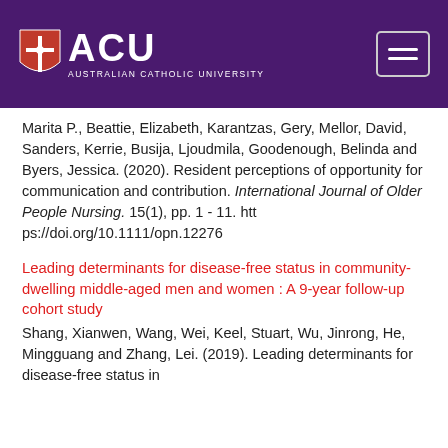[Figure (logo): Australian Catholic University (ACU) logo with shield emblem on purple header bar, with hamburger menu icon on the right]
Marita P., Beattie, Elizabeth, Karantzas, Gery, Mellor, David, Sanders, Kerrie, Busija, Ljoudmila, Goodenough, Belinda and Byers, Jessica. (2020). Resident perceptions of opportunity for communication and contribution. International Journal of Older People Nursing. 15(1), pp. 1 - 11. https://doi.org/10.1111/opn.12276
Leading determinants for disease-free status in community-dwelling middle-aged men and women : A 9-year follow-up cohort study
Shang, Xianwen, Wang, Wei, Keel, Stuart, Wu, Jinrong, He, Mingguang and Zhang, Lei. (2019). Leading determinants for disease-free status in